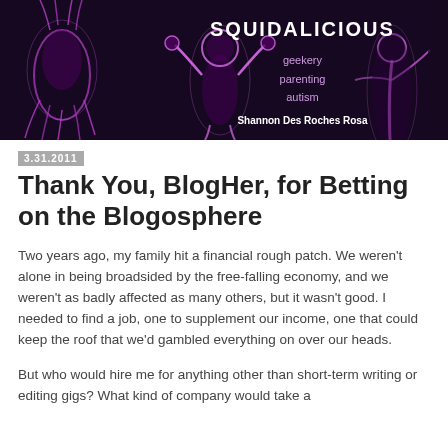[Figure (illustration): Blog header banner for Squidalicious with dark purple background, glowing purple human and squid figures, site title SQUIDALICIOUS, subtitle geekery parenting autism, author Shannon Des Roches Rosa]
3.31.2011
Thank You, BlogHer, for Betting on the Blogosphere
Two years ago, my family hit a financial rough patch. We weren't alone in being broadsided by the free-falling economy, and we weren't as badly affected as many others, but it wasn't good. I needed to find a job, one to supplement our income, one that could keep the roof that we'd gambled everything on over our heads.
But who would hire me for anything other than short-term writing or editing gigs? What kind of company would take a